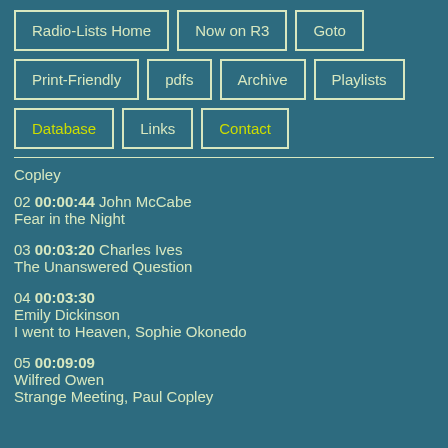Radio-Lists Home
Now on R3
Goto
Print-Friendly
pdfs
Archive
Playlists
Database
Links
Contact
Copley
02 00:00:44 John McCabe
Fear in the Night
03 00:03:20 Charles Ives
The Unanswered Question
04 00:03:30
Emily Dickinson
I went to Heaven, Sophie Okonedo
05 00:09:09
Wilfred Owen
Strange Meeting, Paul Copley